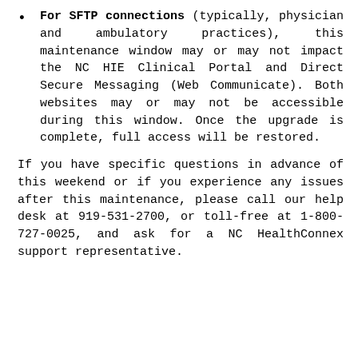For SFTP connections (typically, physician and ambulatory practices), this maintenance window may or may not impact the NC HIE Clinical Portal and Direct Secure Messaging (Web Communicate). Both websites may or may not be accessible during this window. Once the upgrade is complete, full access will be restored.
If you have specific questions in advance of this weekend or if you experience any issues after this maintenance, please call our help desk at 919-531-2700, or toll-free at 1-800-727-0025, and ask for a NC HealthConnex support representative.